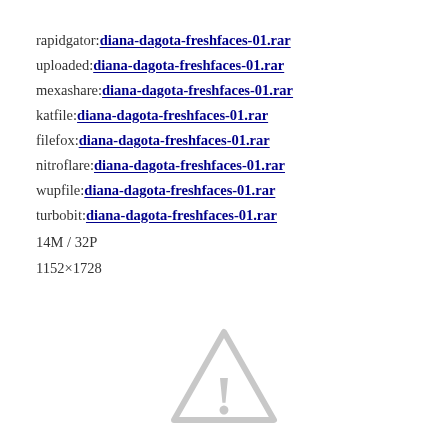rapidgator:diana-dagota-freshfaces-01.rar
uploaded:diana-dagota-freshfaces-01.rar
mexashare:diana-dagota-freshfaces-01.rar
katfile:diana-dagota-freshfaces-01.rar
filefox:diana-dagota-freshfaces-01.rar
nitroflare:diana-dagota-freshfaces-01.rar
wupfile:diana-dagota-freshfaces-01.rar
turbobit:diana-dagota-freshfaces-01.rar
14M / 32P
1152×1728
[Figure (illustration): Warning triangle icon with exclamation mark in light gray]